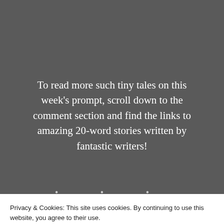To read more such tiny tales on this week’s prompt, scroll down to the comment section and find the links to amazing 20-word stories written by fantastic writers!
• • •
Come me, join in! All you need to do is:
Privacy & Cookies: This site uses cookies. By continuing to use this website, you agree to their use. To find out more, including how to control cookies, see here: Cookie Policy
Close and accept
Ping-back your story to this post, so that